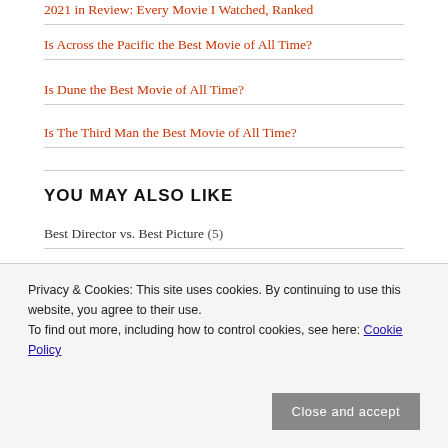2021 in Review: Every Movie I Watched, Ranked
Is Across the Pacific the Best Movie of All Time?
Is Dune the Best Movie of All Time?
Is The Third Man the Best Movie of All Time?
YOU MAY ALSO LIKE
Best Director vs. Best Picture (5)
Best Movie of All Time (62)
Comics (13)
Privacy & Cookies: This site uses cookies. By continuing to use this website, you agree to their use.
To find out more, including how to control cookies, see here: Cookie Policy
Close and accept